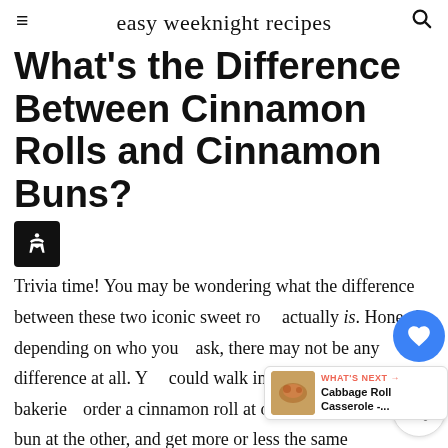easy weeknight recipes
What's the Difference Between Cinnamon Rolls and Cinnamon Buns?
Trivia time! You may be wondering what the difference between these two iconic sweet rolls actually is. Honestly, depending on who you ask, there may not be any difference at all. You could walk into two different bakeries, order a cinnamon roll at one, and a cinnamon bun at the other, and get more or less the same